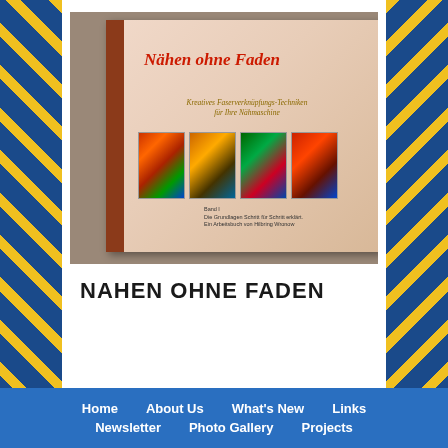[Figure (photo): Book cover photo of 'Nähen ohne Faden' - showing a book with colorful textile art panels and title text]
NAHEN OHNE FADEN
Home   About Us   What's New   Links   Newsletter   Photo Gallery   Projects